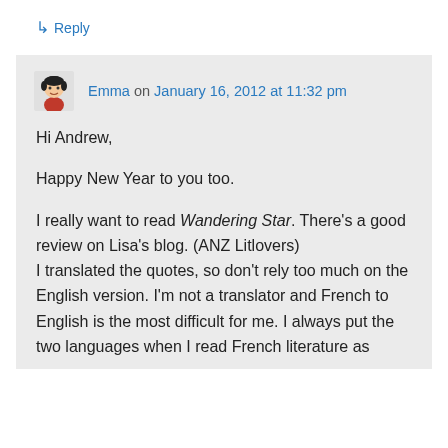↳ Reply
Emma on January 16, 2012 at 11:32 pm
Hi Andrew,

Happy New Year to you too.

I really want to read Wandering Star. There's a good review on Lisa's blog. (ANZ Litlovers)
I translated the quotes, so don't rely too much on the English version. I'm not a translator and French to English is the most difficult for me. I always put the two languages when I read French literature as